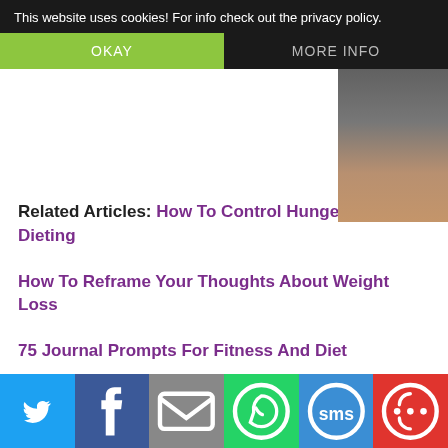This website uses cookies! For info check out the privacy policy.
[Figure (photo): Partial photo of a person, cropped at top right corner of page]
Related Articles: How To Control Hunger While Dieting
How To Reframe Your Thoughts About Weight Loss
75 Journal Prompts For Fitness And Diet
Pilates Yoga
Pilates yoga is a popular topic in many yoga
[Figure (infographic): Social sharing bar with Twitter, Facebook, Email, WhatsApp, SMS, and More buttons]